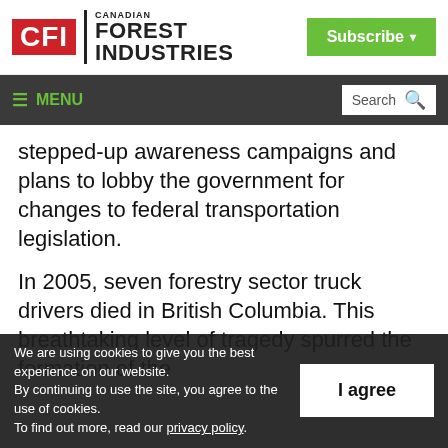[Figure (logo): Canadian Forest Industries logo with red CFI box and black text]
≡ MENU   Search
stepped-up awareness campaigns and plans to lobby the government for changes to federal transportation legislation.
In 2005, seven forestry sector truck drivers died in British Columbia. This breathtaking level of tragedy spurred the formation of the
We are using cookies to give you the best experience on our website.
By continuing to use the site, you agree to the use of cookies.
To find out more, read our privacy policy.